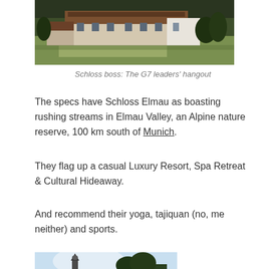[Figure (photo): Photograph of Schloss Elmau castle/hotel building surrounded by green Alpine landscape and dark forest]
Schloss boss: The G7 leaders' hangout
The specs have Schloss Elmau as boasting rushing streams in Elmau Valley, an Alpine nature reserve, 100 km south of Munich.
They flag up a casual Luxury Resort, Spa Retreat & Cultural Hideaway.
And recommend their yoga, tajiquan (no, me neither) and sports.
[Figure (photo): Partial photograph showing a church spire or steeple against a bright sky with trees]